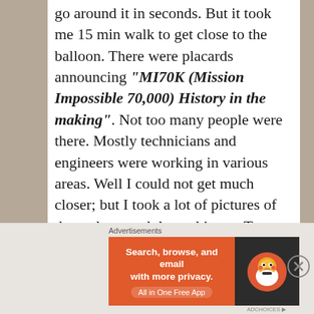go around it in seconds. But it took me 15 min walk to get close to the balloon. There were placards announcing "MI70K (Mission Impossible 70,000) History in the making". Not too many people were there. Mostly technicians and engineers were working in various areas. Well I could not get much closer; but I took a lot of pictures of the gadgets and the ambiance. To my pleasant surprise the horses came out to practice. Watching them run close by was exhilarating. That meant clicking some more pictures! As the sun came up I got information that take off has been postponed to next day, due to high air turbulence. Well, it seemed that I had reached the racecourse a day too early. I indulged
Advertisements
[Figure (infographic): DuckDuckGo advertisement banner: orange left panel saying 'Search, browse, and email with more privacy. All in One Free App' and dark right panel with DuckDuckGo duck logo.]